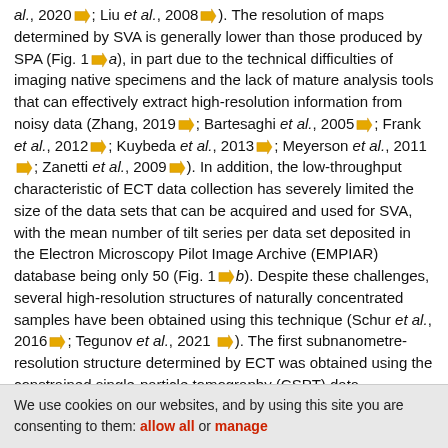al., 2020; Liu et al., 2008). The resolution of maps determined by SVA is generally lower than those produced by SPA (Fig. 1a), in part due to the technical difficulties of imaging native specimens and the lack of mature analysis tools that can effectively extract high-resolution information from noisy data (Zhang, 2019; Bartesaghi et al., 2005; Frank et al., 2012; Kuybeda et al., 2013; Meyerson et al., 2011; Zanetti et al., 2009). In addition, the low-throughput characteristic of ECT data collection has severely limited the size of the data sets that can be acquired and used for SVA, with the mean number of tilt series per data set deposited in the Electron Microscopy Pilot Image Archive (EMPIAR) database being only 50 (Fig. 1b). Despite these challenges, several high-resolution structures of naturally concentrated samples have been obtained using this technique (Schur et al., 2016; Tegunov et al., 2021). The first subnanometre-resolution structure determined by ECT was obtained using the constrained single-particle tomography (CSPT) data-processing paradigm (Bartesaghi et al., 2012), where the idea of working directly with the raw 2D projections extracted from the tilt series and performing an SPA-like reconstruction was first introduced. This hybrid strategy for data analysis provides an effective framework to process high-resolution tilt series data by leveraging the use of established principles in SPA image reconstruction and refinement (Walz et al., 1997; Bartesaghi
We use cookies on our websites, and by using this site you are consenting to them: allow all or manage